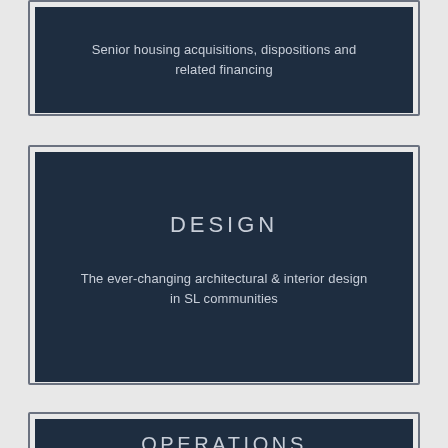Senior housing acquisitions, dispositions and related financing
DESIGN
The ever-changing architectural & interior design in SL communities
OPERATIONS